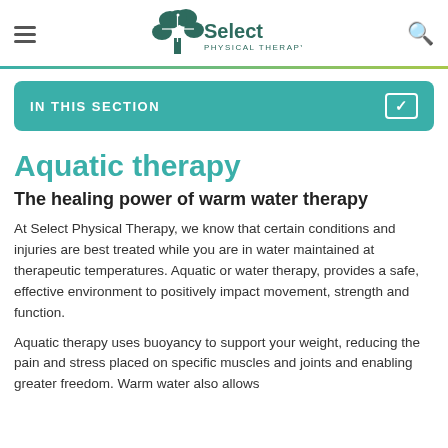Select Physical Therapy
IN THIS SECTION
Aquatic therapy
The healing power of warm water therapy
At Select Physical Therapy, we know that certain conditions and injuries are best treated while you are in water maintained at therapeutic temperatures. Aquatic or water therapy, provides a safe, effective environment to positively impact movement, strength and function.
Aquatic therapy uses buoyancy to support your weight, reducing the pain and stress placed on specific muscles and joints and enabling greater freedom. Warm water also allows